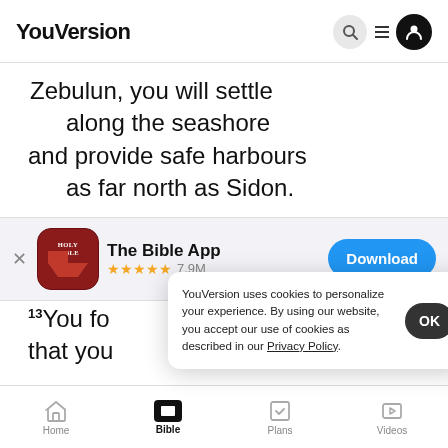YouVersion
Zebulun, you will settle
along the seashore
and provide safe harbours
as far north as Sidon.
[Figure (screenshot): App store banner for The Bible App (Holy Bible icon), with 5 stars, 7.9M ratings, and a Download button]
You fo
that you
and became a slave
YouVersion uses cookies to personalize your experience. By using our website, you accept our use of cookies as described in our Privacy Policy.
Home  Bible  Plans  Videos